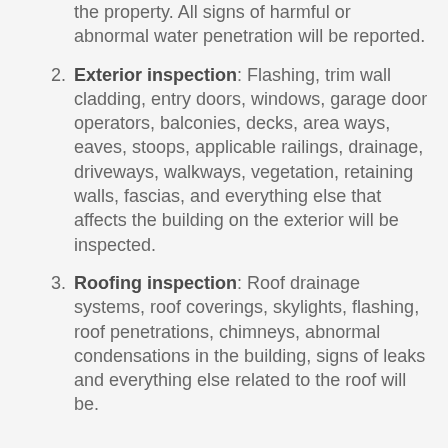the property. All signs of harmful or abnormal water penetration will be reported.
Exterior inspection: Flashing, trim wall cladding, entry doors, windows, garage door operators, balconies, decks, area ways, eaves, stoops, applicable railings, drainage, driveways, walkways, vegetation, retaining walls, fascias, and everything else that affects the building on the exterior will be inspected.
Roofing inspection: Roof drainage systems, roof coverings, skylights, flashing, roof penetrations, chimneys, abnormal condensations in the building, signs of leaks and everything else related to the roof will be.